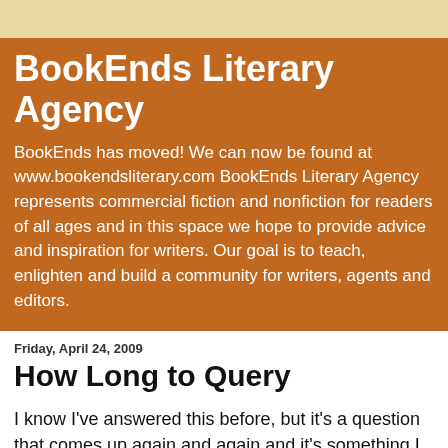BookEnds Literary Agency
BookEnds has moved! We can now be found at www.bookendsliterary.com BookEnds Literary Agency represents commercial fiction and nonfiction for readers of all ages and in this space we hope to provide advice and inspiration for writers. Our goal is to teach, enlighten and build a community for writers, agents and editors.
Friday, April 24, 2009
How Long to Query
I know I've answered this before, but it's a question that comes up again and again and it's something I frequently think about. At one of my recent conferences a discussion came up about how authors should query and for how long. When should they quit? I made the suggestion that authors should never even start querying until they finish their first book and have started on the second. At that point, continue